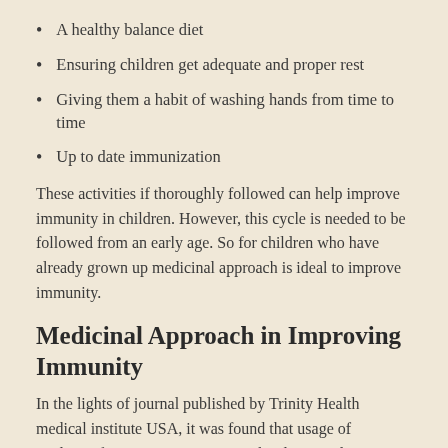A healthy balance diet
Ensuring children get adequate and proper rest
Giving them a habit of washing hands from time to time
Up to date immunization
These activities if thoroughly followed can help improve immunity in children. However, this cycle is needed to be followed from an early age. So for children who have already grown up medicinal approach is ideal to improve immunity.
Medicinal Approach in Improving Immunity
In the lights of journal published by Trinity Health medical institute USA, it was found that usage of medicine for improving immunity has large scale positive impact. Of the three medicinal branches Homeopathy approach was found to be more accurate and efficient in improving immunity of an individual.